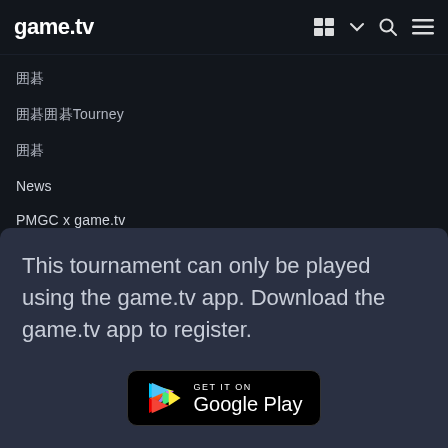game.tv
囲碁
囲碁囲碁Tourney
囲碁
News
PMGC x game.tv
囲碁囲碁囲碁囲碁囲碁
This tournament can only be played using the game.tv app. Download the game.tv app to register.
[Figure (logo): Google Play store download button with triangular play arrow icon and 'GET IT ON Google Play' text on black rounded rectangle background]